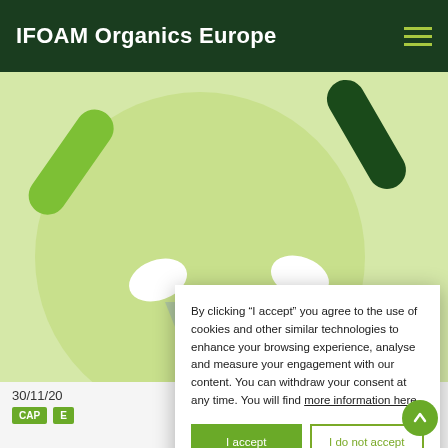IFOAM Organics Europe
[Figure (illustration): Illustration of two pairs of hands casting ballots or papers into a funnel/box, with green and dark green color scheme on a light green circular background]
By clicking “I accept” you agree to the use of cookies and other similar technologies to enhance your browsing experience, analyse and measure your engagement with our content. You can withdraw your consent at any time. You will find more information here.
I accept
I do not accept
30/11/20
CAP E